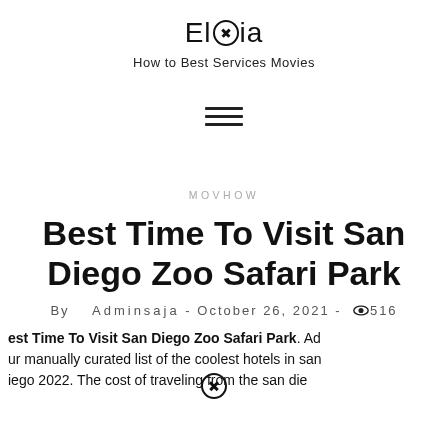Eloia — How to Best Services Movies
[Figure (other): Hamburger menu icon with three horizontal lines]
MOVHOW
Best Time To Visit San Diego Zoo Safari Park
By Adminsaja - October 26, 2021 - 516
Best Time To Visit San Diego Zoo Safari Park. Ad our manually curated list of the coolest hotels in san iego 2022. The cost of traveling from the san dieg...